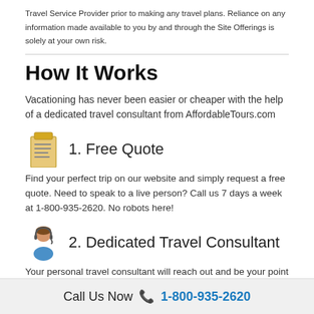Travel Service Provider prior to making any travel plans. Reliance on any information made available to you by and through the Site Offerings is solely at your own risk.
How It Works
Vacationing has never been easier or cheaper with the help of a dedicated travel consultant from AffordableTours.com
1. Free Quote
Find your perfect trip on our website and simply request a free quote. Need to speak to a live person? Call us 7 days a week at 1-800-935-2620. No robots here!
2. Dedicated Travel Consultant
Your personal travel consultant will reach out and be your point of contact for your entire travel experience from start to finish. Did we
Call Us Now 📞 1-800-935-2620